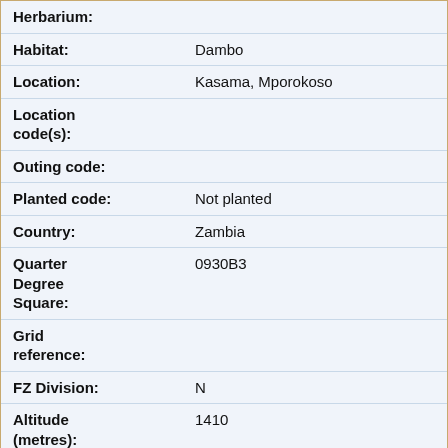| Field | Value |
| --- | --- |
| Herbarium: |  |
| Habitat: | Dambo |
| Location: | Kasama, Mporokoso |
| Location code(s): |  |
| Outing code: |  |
| Planted code: | Not planted |
| Country: | Zambia |
| Quarter Degree Square: | 0930B3 |
| Grid reference: |  |
| FZ Division: | N |
| Altitude (metres): | 1410 |
| Notes: |  |
| Latitude, Longitude: | -9.473611, 30.531944 |